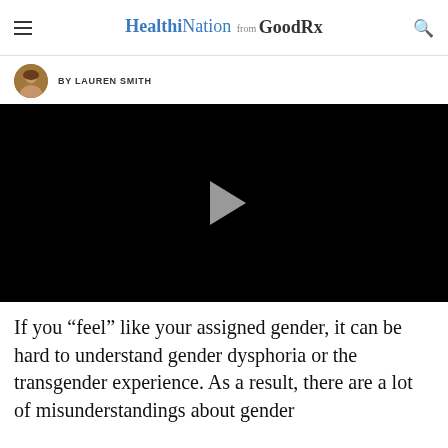HealthiNation from GoodRx
BY LAUREN SMITH
[Figure (screenshot): Black video player with a grey play button triangle in the center]
If you “feel” like your assigned gender, it can be hard to understand gender dysphoria or the transgender experience. As a result, there are a lot of misunderstandings about gender